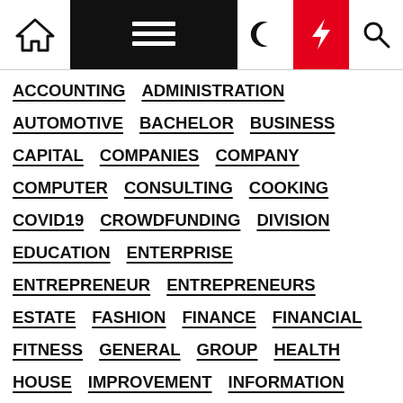Navigation bar with home, menu, dark mode, lightning, and search icons
ACCOUNTING
ADMINISTRATION
AUTOMOTIVE
BACHELOR
BUSINESS
CAPITAL
COMPANIES
COMPANY
COMPUTER
CONSULTING
COOKING
COVID19
CROWDFUNDING
DIVISION
EDUCATION
ENTERPRISE
ENTREPRENEUR
ENTREPRENEURS
ESTATE
FASHION
FINANCE
FINANCIAL
FITNESS
GENERAL
GROUP
HEALTH
HOUSE
IMPROVEMENT
INFORMATION
INSTITUTE
INSURANCE
INTELLIGENCE
JOURNAL
LEISURE
MARKET
MONETARY
NEWS
PANDEMIC
SCIENCE
SMALL
STARTUPS
STOCK
TECHNOLOGY
TRAVEL
WORDPRESS